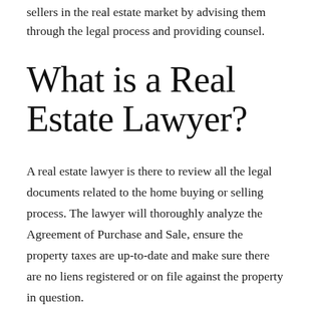sellers in the real estate market by advising them through the legal process and providing counsel.
What is a Real Estate Lawyer?
A real estate lawyer is there to review all the legal documents related to the home buying or selling process. The lawyer will thoroughly analyze the Agreement of Purchase and Sale, ensure the property taxes are up-to-date and make sure there are no liens registered or on file against the property in question.